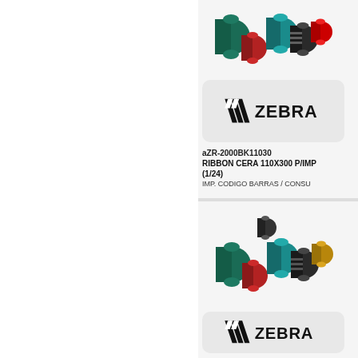[Figure (photo): Group of colorful thermal transfer ribbon rolls (Zebra brand) shown at top of first product card]
[Figure (logo): Zebra Technologies logo in rounded rectangle box, first product card]
aZR-2000BK11030
RIBBON CERA 110X300 P/IMP
(1/24)
IMP. CODIGO BARRAS / CONSU
[Figure (photo): Group of colorful thermal transfer ribbon rolls (Zebra brand) shown in second product card]
[Figure (logo): Zebra Technologies logo in rounded rectangle box, second product card]